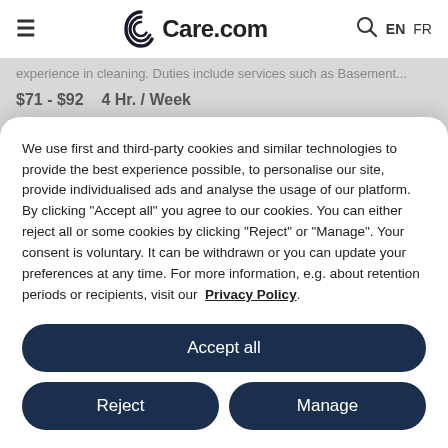Care.com EN FR
experience in cleaning. Duties include services such as Basement...
$71 - $92   4 Hr. / Week
Housekeeping Needed In Port Moody
by Kay • Port Moody
Seeking a kind, responsible and organized housekeeper for general
We use first and third-party cookies and similar technologies to provide the best experience possible, to personalise our site, provide individualised ads and analyse the usage of our platform. By clicking "Accept all" you agree to our cookies. You can either reject all or some cookies by clicking "Reject" or "Manage". Your consent is voluntary. It can be withdrawn or you can update your preferences at any time. For more information, e.g. about retention periods or recipients, visit our Privacy Policy.
Accept all
Reject
Manage